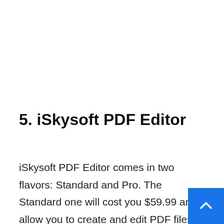5. iSkysoft PDF Editor
iSkysoft PDF Editor comes in two flavors: Standard and Pro. The Standard one will cost you $59.99 and allow you to create and edit PDF files but will only support Word format when it comes to convers...